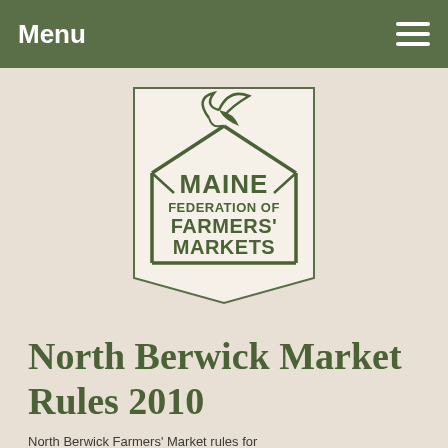Menu
[Figure (logo): Maine Federation of Farmers' Markets logo — a banner/pennant shape with a farmer's market tent outline and decorative plant motif at the top, text reads MAINE FEDERATION OF FARMERS' MARKETS]
North Berwick Market Rules 2010
North Berwick Farmers' Market rules for